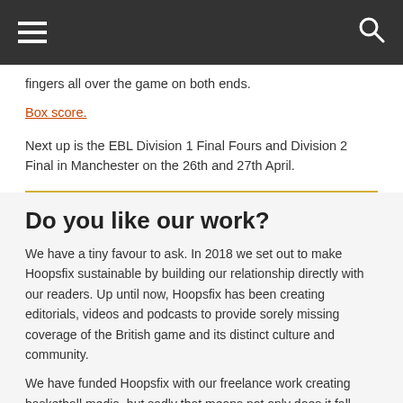[navigation bar with hamburger menu and search icon]
fingers all over the game on both ends.
Box score.
Next up is the EBL Division 1 Final Fours and Division 2 Final in Manchester on the 26th and 27th April.
Do you like our work?
We have a tiny favour to ask. In 2018 we set out to make Hoopsfix sustainable by building our relationship directly with our readers. Up until now, Hoopsfix has been creating editorials, videos and podcasts to provide sorely missing coverage of the British game and its distinct culture and community.
We have funded Hoopsfix with our freelance work creating basketball media, but sadly that means not only does it fall behind our client's priorities, but some of those clients are the